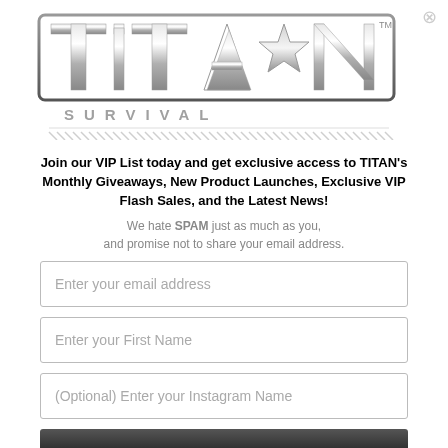[Figure (logo): Titan Survival logo — metallic silver 3D block letters spelling TITAN with a star, and SURVIVAL text below in spaced caps with diagonal stripe pattern underneath]
Join our VIP List today and get exclusive access to TITAN's Monthly Giveaways, New Product Launches, Exclusive VIP Flash Sales, and the Latest News!
We hate SPAM just as much as you, and promise not to share your email address.
Enter your email address
Enter your First Name
(Optional) Enter your Instagram Name